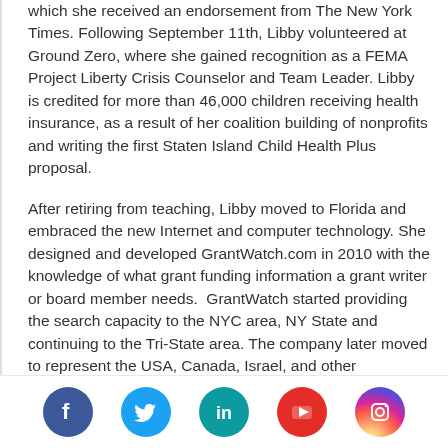which she received an endorsement from The New York Times. Following September 11th, Libby volunteered at Ground Zero, where she gained recognition as a FEMA Project Liberty Crisis Counselor and Team Leader. Libby is credited for more than 46,000 children receiving health insurance, as a result of her coalition building of nonprofits and writing the first Staten Island Child Health Plus proposal.
After retiring from teaching, Libby moved to Florida and embraced the new Internet and computer technology. She designed and developed GrantWatch.com in 2010 with the knowledge of what grant funding information a grant writer or board member needs.  GrantWatch started providing the search capacity to the NYC area, NY State and continuing to the Tri-State area. The company later moved to represent the USA, Canada, Israel, and other International regions.
GrantWatch.com is now the leading grant website in the funding industry. GrantWatch is the online resource for grants for nonprofits, government agencies, municipalities, foundations, corporations, small businesses, and individuals.
[Figure (other): Social media icons row: Facebook (blue circle), Twitter (light blue circle), LinkedIn (teal circle), YouTube (red circle), Instagram (gradient circle)]